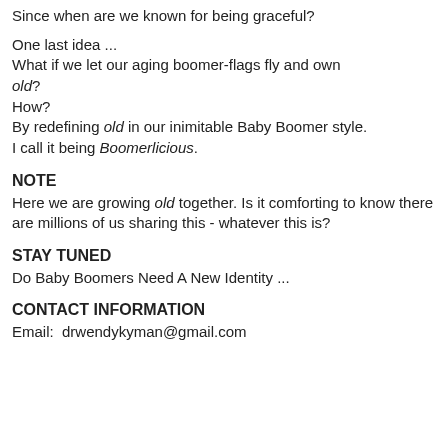Since when are we known for being graceful?
One last idea ...
What if we let our aging boomer-flags fly and own old?
How?
By redefining old in our inimitable Baby Boomer style.
I call it being Boomerlicious.
NOTE
Here we are growing old together. Is it comforting to know there are millions of us sharing this - whatever this is?
STAY TUNED
Do Baby Boomers Need A New Identity ...
CONTACT INFORMATION
Email:  drwendykyman@gmail.com